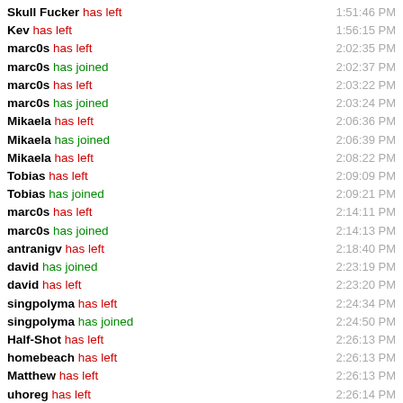Skull Fucker has left — 1:51:46 PM
Kev has left — 1:56:15 PM
marc0s has left — 2:02:35 PM
marc0s has joined — 2:02:37 PM
marc0s has left — 2:03:22 PM
marc0s has joined — 2:03:24 PM
Mikaela has left — 2:06:36 PM
Mikaela has joined — 2:06:39 PM
Mikaela has left — 2:08:22 PM
Tobias has left — 2:09:09 PM
Tobias has joined — 2:09:21 PM
marc0s has left — 2:14:11 PM
marc0s has joined — 2:14:13 PM
antranigv has left — 2:18:40 PM
david has joined — 2:23:19 PM
david has left — 2:23:20 PM
singpolyma has left — 2:24:34 PM
singpolyma has joined — 2:24:50 PM
Half-Shot has left — 2:26:13 PM
homebeach has left — 2:26:13 PM
Matthew has left — 2:26:13 PM
uhoreg has left — 2:26:14 PM
Half-Shot has joined — 2:26:14 PM
Matthew has joined — 2:26:14 PM
homebeach has joined — 2:26:15 PM